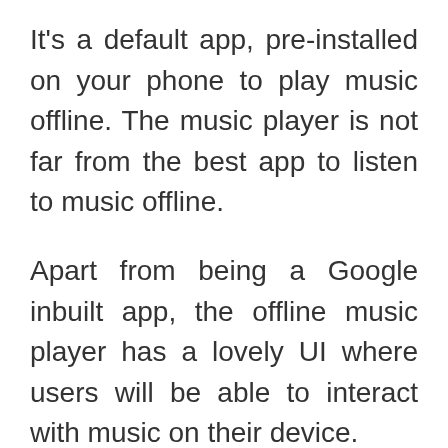It's a default app, pre-installed on your phone to play music offline. The music player is not far from the best app to listen to music offline.
Apart from being a Google inbuilt app, the offline music player has a lovely UI where users will be able to interact with music on their device.
The Google play music app, unlike the VLC, section music you play on your device into different sections which